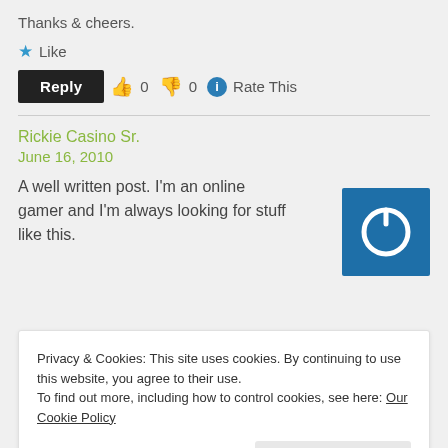Thanks & cheers.
★ Like
Reply  👍 0  👎 0  ℹ Rate This
Rickie Casino Sr.
June 16, 2010
[Figure (logo): Blue square avatar with white power/circle icon]
A well written post. I'm an online gamer and I'm always looking for stuff like this.
Privacy & Cookies: This site uses cookies. By continuing to use this website, you agree to their use. To find out more, including how to control cookies, see here: Our Cookie Policy
Close and accept
Howdy, your site is on air in the radio.